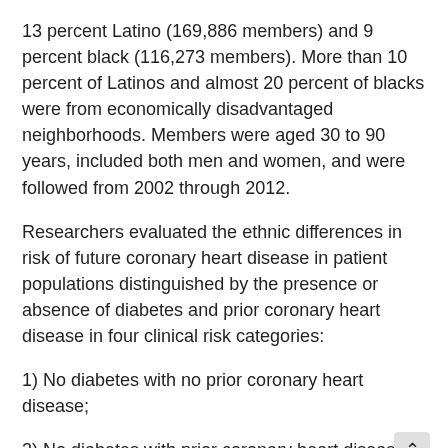13 percent Latino (169,886 members) and 9 percent black (116,273 members). More than 10 percent of Latinos and almost 20 percent of blacks were from economically disadvantaged neighborhoods. Members were aged 30 to 90 years, included both men and women, and were followed from 2002 through 2012.
Researchers evaluated the ethnic differences in risk of future coronary heart disease in patient populations distinguished by the presence or absence of diabetes and prior coronary heart disease in four clinical risk categories:
1) No diabetes with no prior coronary heart disease;
2) No diabetes with prior coronary heart diseas
3) Diabetes with no prior coronary heart disease;